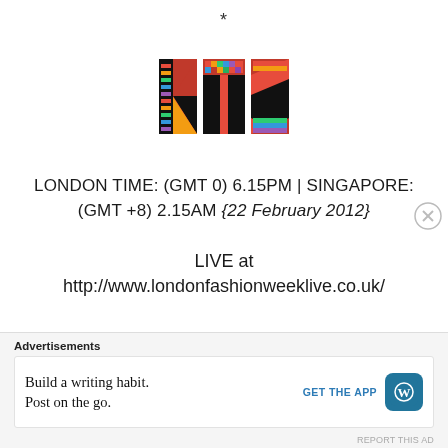*
[Figure (logo): KTZ brand logo with colorful patterned letters on black background]
LONDON TIME: (GMT 0) 6.15PM | SINGAPORE: (GMT +8) 2.15AM {22 February 2012}
LIVE at
http://www.londonfashionweeklive.co.uk/
Advertisements
Build a writing habit.
Post on the go.
GET THE APP